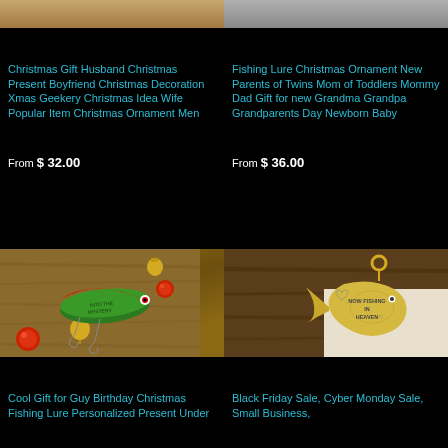[Figure (photo): Top portion of a Christmas ornament or fishing lure product photo (left)]
[Figure (photo): Top portion of a fishing lure ornament product photo (right)]
Christmas Gift Husband Christmas Present Boyfriend Christmas Decoration Xmas Geekery Christmas Idea Wife Popular Item Christmas Ornament Men
Fishing Lure Christmas Ornament New Parents of Twins Mom of Toddlers Mommy Dad Gift for new Grandma Grandpa Grandparents Day Newborn Baby
From $ 32.00
From $ 36.00
[Figure (photo): Green and red fishing lure with bells and hooks on wooden background]
[Figure (photo): Gold fish-shaped ornament with text NOW FISHING IN HEAVEN on wooden background]
Cool Gift for Guy Birthday Christmas Fishing Lure Personalized Present Under
Black Friday Sale, Cyber Monday Sale, Small Business,